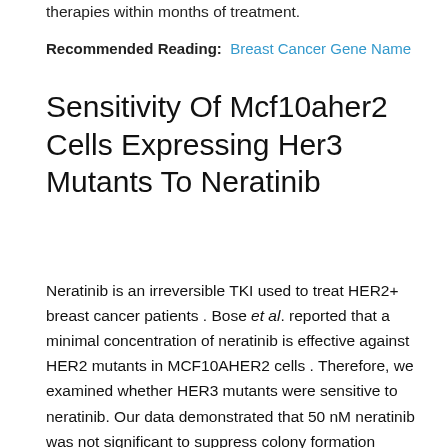therapies within months of treatment.
Recommended Reading:  Breast Cancer Gene Name
Sensitivity Of Mcf10aher2 Cells Expressing Her3 Mutants To Neratinib
Neratinib is an irreversible TKI used to treat HER2+ breast cancer patients . Bose et al. reported that a minimal concentration of neratinib is effective against HER2 mutants in MCF10AHER2 cells . Therefore, we examined whether HER3 mutants were sensitive to neratinib. Our data demonstrated that 50 nM neratinib was not significant to suppress colony formation induced by HER3F94L, HER3T355I and HER3E1261A on matrigel . A higher concentration of neratinib was effective in abrogating colony